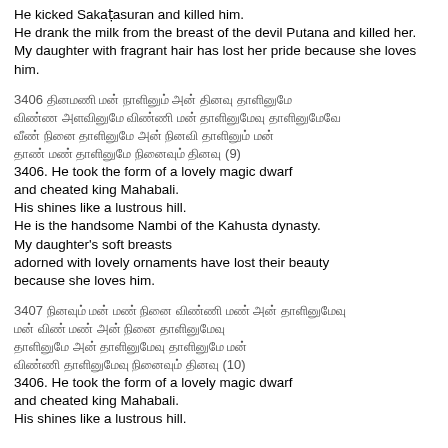3405. The matchless god broke the Kurundam tree. He kicked Sakatasuran and killed him. He drank the milk from the breast of the devil Putana and killed her. My daughter with fragrant hair has lost her pride because she loves him.
3406 [Tamil script lines] (9)
3406. He took the form of a lovely magic dwarf and cheated king Mahabali. His shines like a lustrous hill. He is the handsome Nambi of the Kahusta dynasty. My daughter's soft breasts adorned with lovely ornaments have lost their beauty because she loves him.
3407 [Tamil script lines] (10)
3406. He took the form of a lovely magic dwarf and cheated king Mahabali. His shines like a lustrous hill.